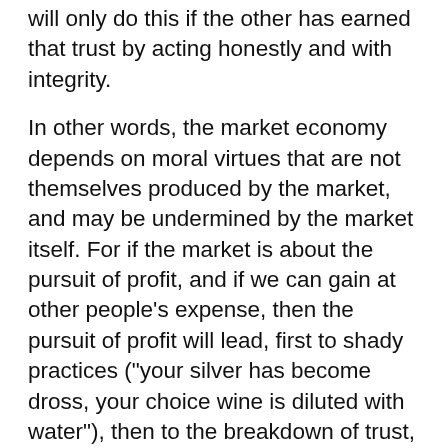will only do this if the other has earned that trust by acting honestly and with integrity.
In other words, the market economy depends on moral virtues that are not themselves produced by the market, and may be undermined by the market itself. For if the market is about the pursuit of profit, and if we can gain at other people’s expense, then the pursuit of profit will lead, first to shady practices (“your silver has become dross, your choice wine is diluted with water”), then to the breakdown of trust, then to the collapse of the market itself.
A classic instance of this happened after the financial crash in 2008. For a decade, banks had engaged in doubtful practices, notably subprime mortgages and the securitization of risk through financial instruments.